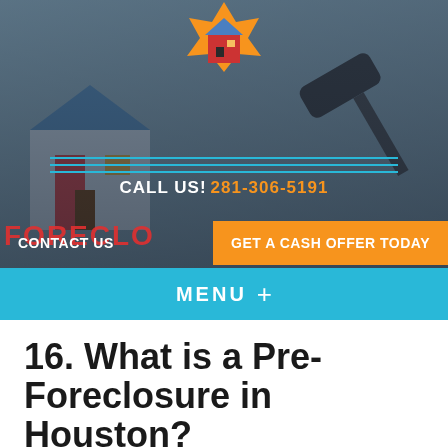[Figure (screenshot): Website header with house logo, foreclosure background photo with gavel, call us phone number 281-306-5191, contact us and get a cash offer today buttons]
CALL US! 281-306-5191
CONTACT US   GET A CASH OFFER TODAY
MENU +
16. What is a Pre-Foreclosure in Houston?
June 30, 2019